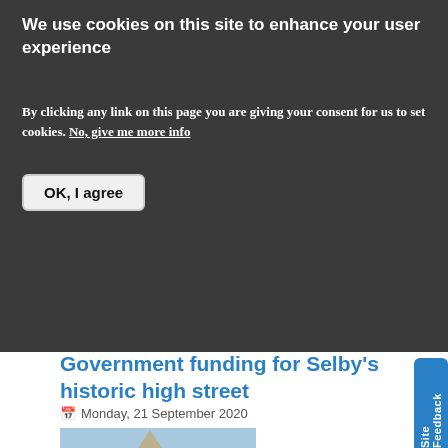We use cookies on this site to enhance your user experience
By clicking any link on this page you are giving your consent for us to set cookies. No, give me more info
OK, I agree
[Figure (photo): Selby brand advertisement banner with dark background showing cylinder and SELBY logo]
A new district-wide campaign is encouraging drivers to 'kick the habit' and switch off their engines while parked…
Government funding for Selby's historic high street
Monday, 21 September 2020
[Figure (photo): Photo of a historic church or cathedral building with bare trees against a blue sky, likely in Selby]